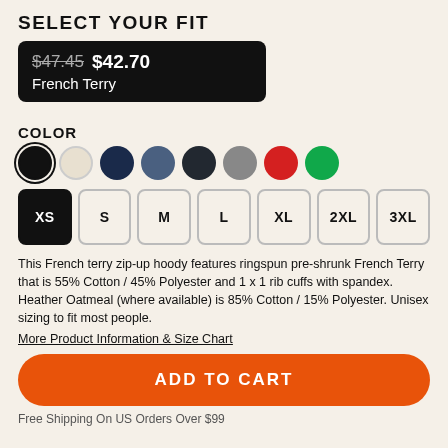SELECT YOUR FIT
$47.45 $42.70
French Terry
COLOR
[Figure (other): Color swatches: black (selected), white/cream, navy, slate blue, dark charcoal, gray, red, green]
[Figure (other): Size selector buttons: XS (selected/black), S, M, L, XL, 2XL, 3XL]
This French terry zip-up hoody features ringspun pre-shrunk French Terry that is 55% Cotton / 45% Polyester and 1 x 1 rib cuffs with spandex. Heather Oatmeal (where available) is 85% Cotton / 15% Polyester. Unisex sizing to fit most people.
More Product Information & Size Chart
ADD TO CART
Free Shipping On US Orders Over $99